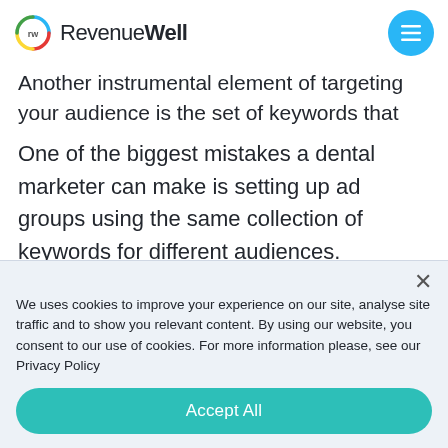RevenueWell
Another instrumental element of targeting your audience is the set of keywords that you choose.
One of the biggest mistakes a dental marketer can make is setting up ad groups using the same collection of keywords for different audiences.
Keywords can, and should, change depending on
We uses cookies to improve your experience on our site, analyse site traffic and to show you relevant content. By using our website, you consent to our use of cookies. For more information please, see our Privacy Policy
Accept All